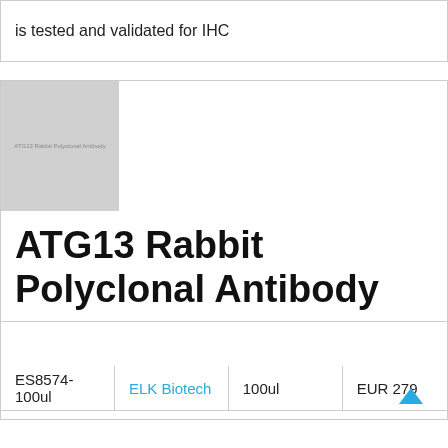is tested and validated for IHC
[Figure (photo): ATG13 Rabbit Polyclonal Antibody product image placeholder (grey square with label text)]
ATG13 Rabbit Polyclonal Antibody
| ES8574-100ul | ELK Biotech | 100ul | EUR 279 |
| --- | --- | --- | --- |
Description: A Rabbit Polyclonal antibody against ATG13 Rabbit from Human/Mouse/Rat. This antibody is tested and validated for IHC